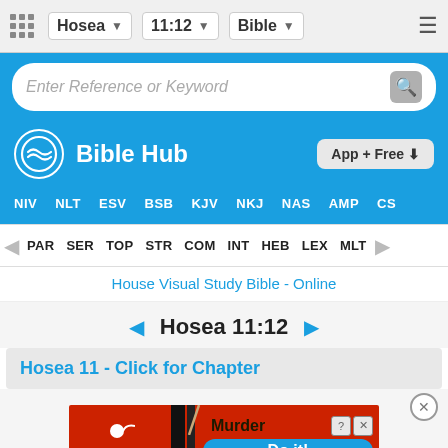Hosea  11:12  Bible
Enter Reference or Keyword
Bible Hub
App + Free
NIV  NLT  ESV  BSB  KJV  NKJ  NAS  AMP  CS
PAR  SER  TOP  STR  COM  INT  HEB  LEX  MLT
House Visual Study Bible - Online
◄ Hosea 11:12 ►
Hosea 11 - Click for Chapter
[Figure (screenshot): BitLife advertisement banner with red background, yellow BitLife logo with sperm icon, Murder text, help/close icons, and blue 'Do it!' button]